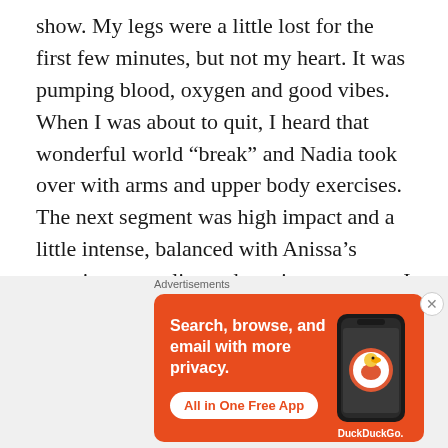show. My legs were a little lost for the first few minutes, but not my heart. It was pumping blood, oxygen and good vibes. When I was about to quit, I heard that wonderful world “break” and Nadia took over with arms and upper body exercises. The next segment was high impact and a little intense, balanced with Anissa’s cosmic personality and persistent energy. I jumped, squatted, bounced and laughed my soul out. Girl, it was great!
[Figure (photo): Partial photo strip visible at the bottom of the main content area, showing a blurred indoor scene]
Advertisements
[Figure (screenshot): DuckDuckGo advertisement banner with orange background showing 'Search, browse, and email with more privacy. All in One Free App' with a phone image and DuckDuckGo logo]